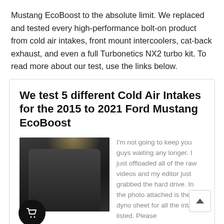Mustang EcoBoost to the absolute limit. We replaced and tested every high-performance bolt-on product from cold air intakes, front mount intercoolers, cat-back exhaust, and even a full Turbonetics NX2 turbo kit. To read more about our test, use the links below.
We test 5 different Cold Air Intakes for the 2015 to 2021 Ford Mustang EcoBoost
[Figure (photo): A person standing in front of a car engine bay holding performance parts, in a shop setting with warm overhead lighting.]
I'm not going to keep you guys waiting any longer. I just offloaded all of the raw videos and my editor just grabbed the hard drive. In the photo attached is the dyno sheet for all the intakes listed. Please remember, these results are UNTUNED. Keep that in mind as we go through this data. We did...
Continue reading